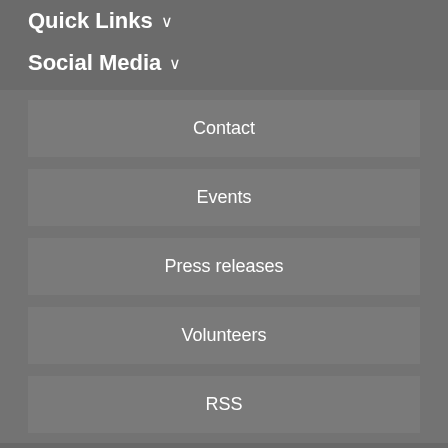Quick Links ∨
Social Media ∨
Contact
Events
Press releases
Volunteers
RSS
[Figure (logo): Max-Planck-Gesellschaft circular logo with Minerva head]
Max-Planck-Gesellschaft
↗ About the MPG   Imprint   Contact   Sitemap